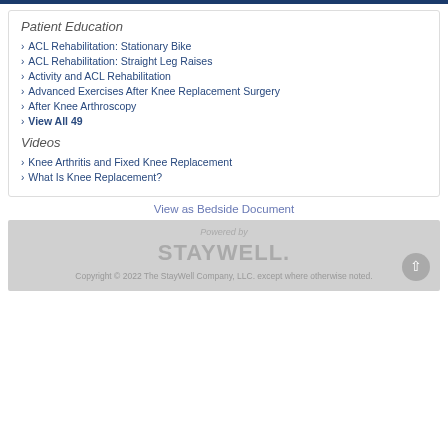Patient Education
ACL Rehabilitation: Stationary Bike
ACL Rehabilitation: Straight Leg Raises
Activity and ACL Rehabilitation
Advanced Exercises After Knee Replacement Surgery
After Knee Arthroscopy
View All 49
Videos
Knee Arthritis and Fixed Knee Replacement
What Is Knee Replacement?
View as Bedside Document
Powered by
STAYWELL.
Copyright © 2022 The StayWell Company, LLC. except where otherwise noted.